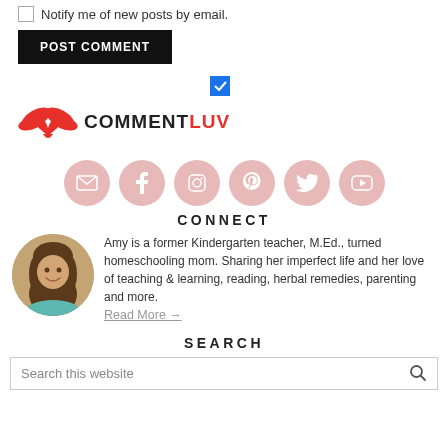Notify me of new posts by email.
POST COMMENT
[Figure (logo): CommentLuv logo with red wing icon and text COMMENTLUV, with blue checkbox above]
[Figure (infographic): Six social media icon circles (email, Facebook, Instagram, Pinterest, Twitter, YouTube) in pink/rose color]
CONNECT
[Figure (photo): Circular portrait photo of a smiling woman with long brown hair wearing a teal top]
Amy is a former Kindergarten teacher, M.Ed., turned homeschooling mom. Sharing her imperfect life and her love of teaching & learning, reading, herbal remedies, parenting and more.
Read More →
SEARCH
Search this website